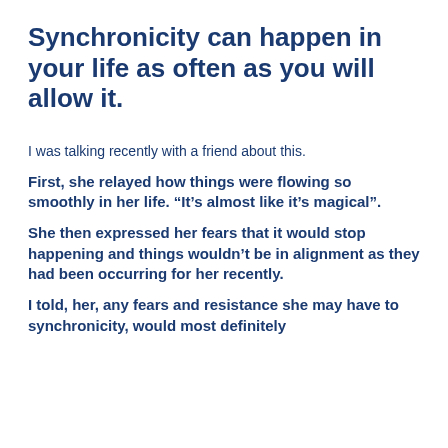Synchronicity can happen in your life as often as you will allow it.
I was talking recently with a friend about this.
First, she relayed how things were flowing so smoothly in her life. “It’s almost like it’s magical”.
She then expressed her fears that it would stop happening and things wouldn’t be in alignment as they had been occurring for her recently.
I told, her, any fears and resistance she may have to synchronicity, would most definitely